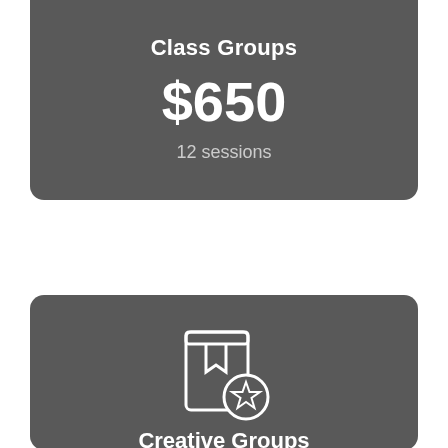Class Groups
$650
12 sessions
[Figure (illustration): Book with bookmark and star badge icon, white outline on dark gray background]
Creative Groups